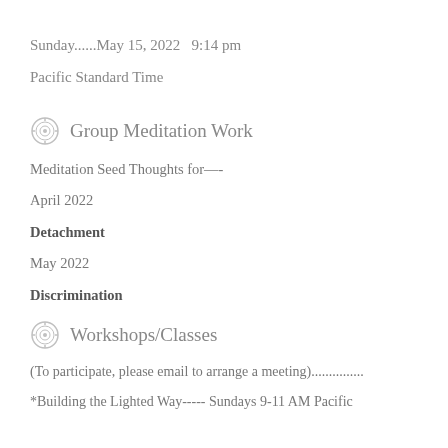Sunday......May 15, 2022   9:14 pm
Pacific Standard Time
Group Meditation Work
Meditation Seed Thoughts for—-
April 2022
Detachment
May 2022
Discrimination
Workshops/Classes
(To participate, please email to arrange a meeting)...............
*Building the Lighted Way----- Sundays 9-11 AM Pacific